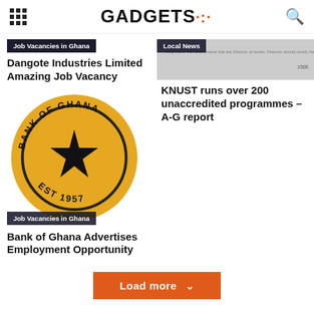GADGETS
Job Vacancies in Ghana
Local News
Dangote Industries Limited Amazing Job Vacancy
KNUST runs over 200 unaccredited programmes – A-G report
[Figure (logo): Bank of Ghana circular logo — gold circle with black star and text BANK OF GHANA EST 1957]
Job Vacancies in Ghana
Bank of Ghana Advertises Employment Opportunity
Load more